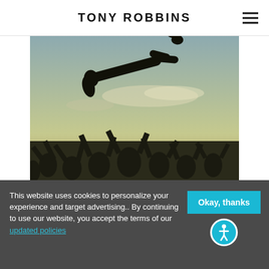TONY ROBBINS
[Figure (photo): Silhouette of a crowd of people with arms raised, tossing a person into the air against a cloudy sky at dusk/golden hour.]
This website uses cookies to personalize your experience and target advertising.. By continuing to use our website, you accept the terms of our updated policies